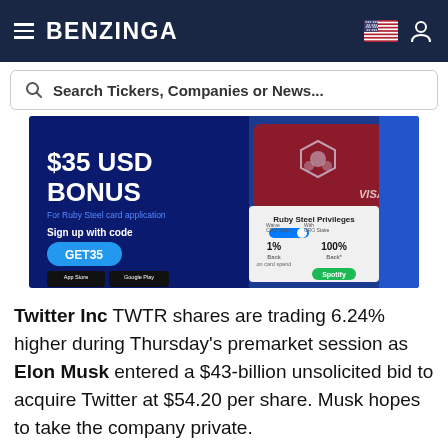BENZINGA
[Figure (screenshot): Search bar with text: Search Tickers, Companies or News...]
[Figure (photo): Advertisement banner for Crypto.com Visa Ruby Steel card: $35 USD BONUS for Ruby Steel card application. Sign up with code GET35. Ruby Steel Privileges: 1% Back on card spend, 100% Back, Spotify. App Store and Google Play buttons.]
Twitter Inc TWTR shares are trading 6.24% higher during Thursday's premarket session as Elon Musk entered a $43-billion unsolicited bid to acquire Twitter at $54.20 per share. Musk hopes to take the company private.